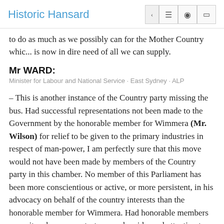Historic Hansard
to do as much as we possibly can for the Mother Country which is now in dire need of all we can supply.
Mr WARD:
Minister for Labour and National Service · East Sydney · ALP
– This is another instance of the Country party missing the bus. Had successful representations not been made to the Government by the honorable member for Wimmera (Mr. Wilson) for relief to be given to the primary industries in respect of man-power, I am perfectly sure that this move would not have been made by members of the Country party in this chamber. No member of this Parliament has been more conscientious or active, or more persistent, in his advocacy on behalf of the country interests than the honorable member for Wimmera. Had honorable members opposite who now protest so much paid equal attention to their duties as representatives of primary producers, probably much more would have been accomplished in the cause behalf of country industries. This action...